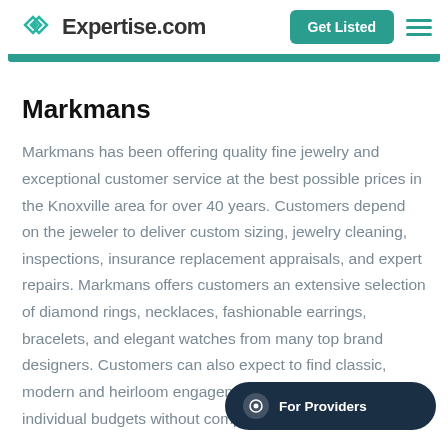Expertise.com | Get Listed
Markmans
Markmans has been offering quality fine jewelry and exceptional customer service at the best possible prices in the Knoxville area for over 40 years. Customers depend on the jeweler to deliver custom sizing, jewelry cleaning, inspections, insurance replacement appraisals, and expert repairs. Markmans offers customers an extensive selection of diamond rings, necklaces, fashionable earrings, bracelets, and elegant watches from many top brand designers. Customers can also expect to find classic, modern and heirloom engagement rings that specific individual budgets without compromising